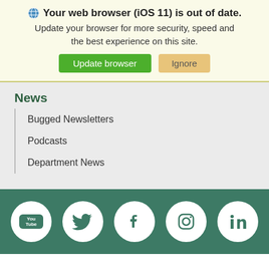Your web browser (iOS 11) is out of date. Update your browser for more security, speed and the best experience on this site. Update browser | Ignore
News
Bugged Newsletters
Podcasts
Department News
[Figure (infographic): Social media icons row: YouTube, Twitter, Facebook, Instagram, LinkedIn — white circles on teal/green background]
Search | Menu